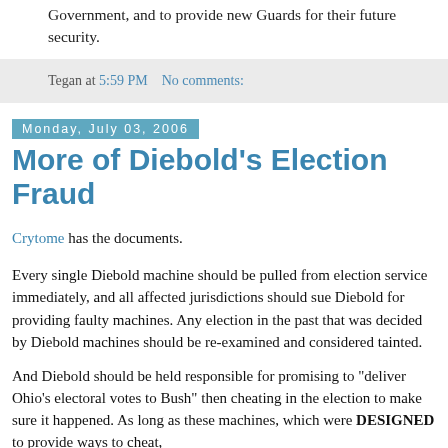Government, and to provide new Guards for their future security.
Tegan at 5:59 PM    No comments:
Monday, July 03, 2006
More of Diebold's Election Fraud
Crytome has the documents.
Every single Diebold machine should be pulled from election service immediately, and all affected jurisdictions should sue Diebold for providing faulty machines. Any election in the past that was decided by Diebold machines should be re-examined and considered tainted.
And Diebold should be held responsible for promising to "deliver Ohio's electoral votes to Bush" then cheating in the election to make sure it happened. As long as these machines, which were DESIGNED to provide ways to cheat,